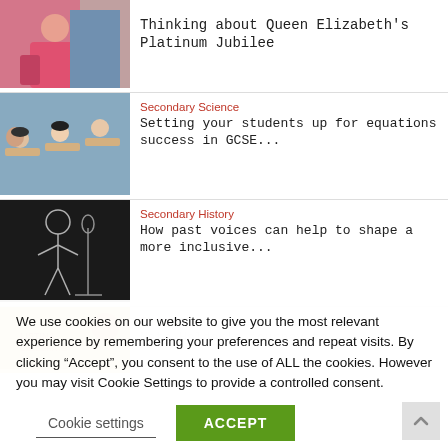[Figure (photo): Photo of a person in a pink top working on something, partial view]
Thinking about Queen Elizabeth's Platinum Jubilee
[Figure (photo): Students sitting at desks in a classroom, exam setting]
Secondary Science
Setting your students up for equations success in GCSE...
[Figure (illustration): Black background with white line drawing of a person at a microphone]
Secondary History
How past voices can help to shape a more inclusive...
[Figure (photo): Partial image of biscuit/cookie packaging - Listina Celebrate]
Primary
Nate Holder's journey to
We use cookies on our website to give you the most relevant experience by remembering your preferences and repeat visits. By clicking “Accept”, you consent to the use of ALL the cookies. However you may visit Cookie Settings to provide a controlled consent.
Cookie settings
ACCEPT